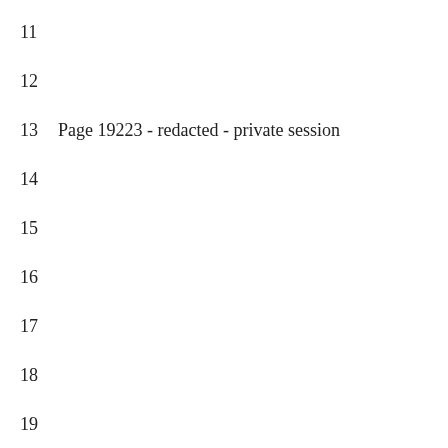11
12
13 Page 19223 - redacted - private session
14
15
16
17
18
19
20